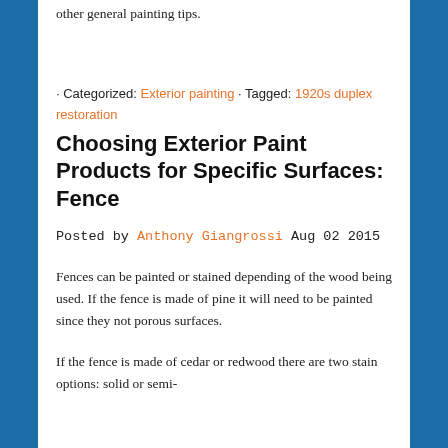other general painting tips.
· Categorized: Exterior painting · Tagged: 1920s duplex restoration
Choosing Exterior Paint Products for Specific Surfaces: Fence
Posted by Anthony Giangrossi Aug 02 2015
Fences can be painted or stained depending of the wood being used. If the fence is made of pine it will need to be painted since they not porous surfaces.
If the fence is made of cedar or redwood there are two stain options: solid or semi-